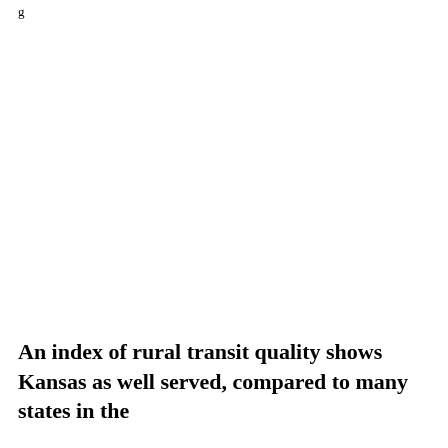An index of rural transit quality shows Kansas as well served, compared to many states in the
g